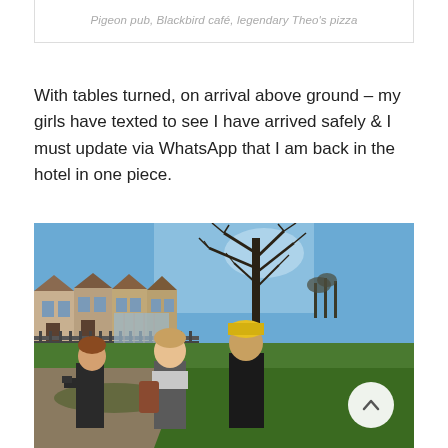Pigeon pub, Blackbird café, legendary Theo's pizza
With tables turned, on arrival above ground – my girls have texted to see I have arrived safely & I must update via WhatsApp that I am back in the hotel in one piece.
[Figure (photo): Outdoor photograph showing three people walking on a path next to a park with green grass. Behind them is a row of terraced houses and a large bare tree against a blue sky. One person wears a yellow hat.]